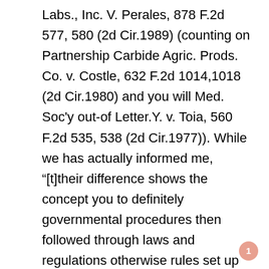Labs., Inc. V. Perales, 878 F.2d 577, 580 (2d Cir.1989) (counting on Partnership Carbide Agric. Prods. Co. v. Costle, 632 F.2d 1014,1018 (2d Cir.1980) and you will Med. Soc'y out-of Letter.Y. v. Toia, 560 F.2d 535, 538 (2d Cir.1977)). While we has actually informed me, "[t]their difference shows the concept you to definitely governmental procedures then followed through laws and regulations otherwise rules set up as a consequence of presumptively reasoned popular process have earned increased level of deference and cannot end up being enjoined carefully." In a position v. You, 44 F.three dimensional 128,131 (2d Cir.1995).
1